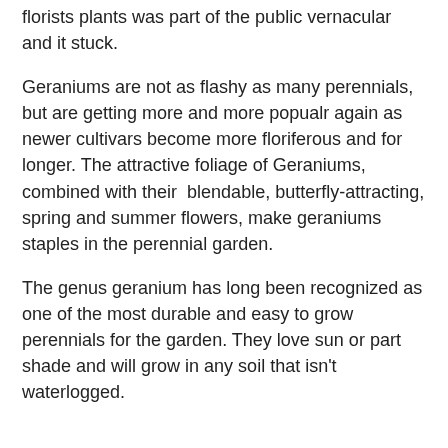florists plants was part of the public vernacular and it stuck.
Geraniums are not as flashy as many perennials, but are getting more and more popualr again as newer cultivars become more floriferous and for longer. The attractive foliage of Geraniums, combined with their  blendable, butterfly-attracting, spring and summer flowers, make geraniums staples in the perennial garden.
The genus geranium has long been recognized as one of the most durable and easy to grow perennials for the garden. They love sun or part shade and will grow in any soil that isn't waterlogged.